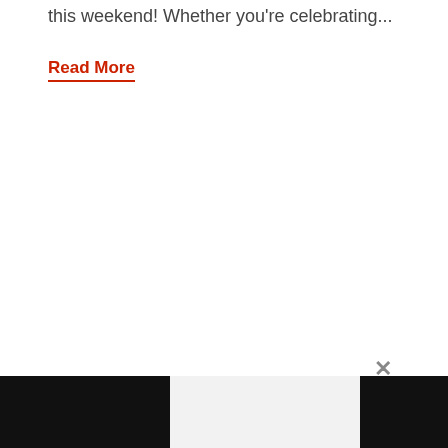this weekend! Whether you're celebrating...
Read More
×
[Figure (other): Advertisement banner with dark side panels and a light center panel at the bottom of the page]